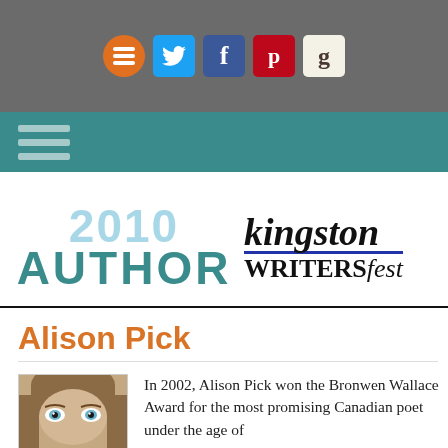[Figure (infographic): Social media icons row: burger/menu icon (orange circle), Twitter (blue circle), Facebook (dark blue square), Pinterest (red square), Goodreads (cream square with 'g')]
[Figure (infographic): Teal navigation bar with three horizontal hamburger menu lines on left]
[Figure (logo): 2010 AUTHOR badge in teal with light blue year text, beside Kingston WritersFest logo]
Alison Pick
[Figure (photo): Close-up photo of a woman's face showing eyes and forehead]
In 2002, Alison Pick won the Bronwen Wallace Award for the most promising Canadian poet under the age of